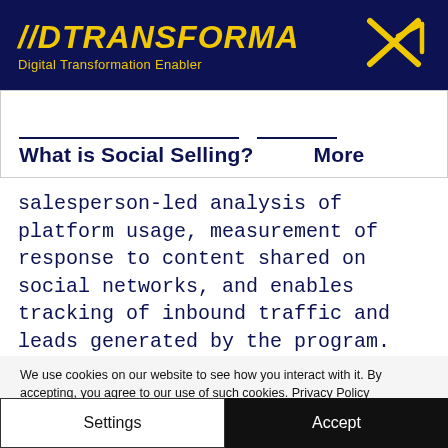//DTRANSFORMA — Digital Transformation Enabler
What is Social Selling?   More
salesperson-led analysis of platform usage, measurement of response to content shared on social networks, and enables tracking of inbound traffic and leads generated by the program.
We use cookies on our website to see how you interact with it. By accepting, you agree to our use of such cookies. Privacy Policy
Settings   Accept